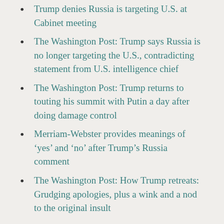Trump denies Russia is targeting U.S. at Cabinet meeting
The Washington Post: Trump says Russia is no longer targeting the U.S., contradicting statement from U.S. intelligence chief
The Washington Post: Trump returns to touting his summit with Putin a day after doing damage control
Merriam-Webster provides meanings of ‘yes’ and ‘no’ after Trump’s Russia comment
The Washington Post: How Trump retreats: Grudging apologies, plus a wink and a nod to the original insult
Like I said yesterday (Daily Check-In 07/17/2018), that